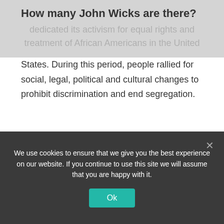How many John Wicks are there?
dedicated its activism for equal rights and treatment of African Americans in the United States. During this period, people rallied for social, legal, political and cultural changes to prohibit discrimination and end segregation.
What was John Wick's car?
Boss 429
Does Booker T still wrestle?
Robert Booker Tio Huffman (born March 1, 1965) better
We use cookies to ensure that we give you the best experience on our website. If you continue to use this site we will assume that you are happy with it.